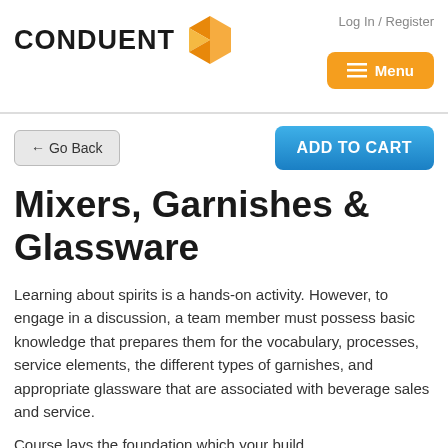[Figure (logo): Conduent logo with orange geometric arrow/triangle icon and bold black text 'CONDUENT']
Log In / Register
≡ Menu
← Go Back
ADD TO CART
Mixers, Garnishes & Glassware
Learning about spirits is a hands-on activity. However, to engage in a discussion, a team member must possess basic knowledge that prepares them for the vocabulary, processes, service elements, the different types of garnishes, and appropriate glassware that are associated with beverage sales and service.
Course lays the foundation which your build...